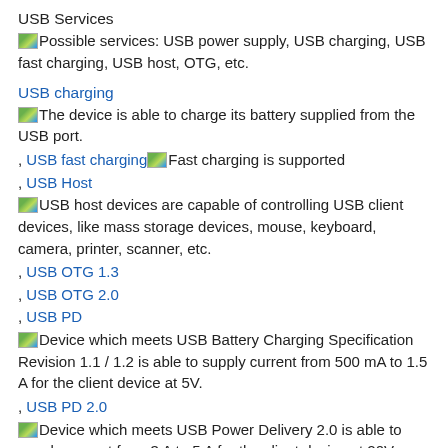USB Services
Possible services: USB power supply, USB charging, USB fast charging, USB host, OTG, etc.
USB charging
The device is able to charge its battery supplied from the USB port.
, USB fast charging Fast charging is supported
, USB Host
USB host devices are capable of controlling USB client devices, like mass storage devices, mouse, keyboard, camera, printer, scanner, etc.
, USB OTG 1.3
, USB OTG 2.0
, USB PD
Device which meets USB Battery Charging Specification Revision 1.1 / 1.2 is able to supply current from 500 mA to 1.5 A for the client device at 5V.
, USB PD 2.0
Device which meets USB Power Delivery 2.0 is able to supply current from 3 A to 5 A for the client device at 20V.
USB Connector
Physical USB connector layout. Most common types: micro-USB, USB A, USB Type-C or proprietary (e.g. Lightning)